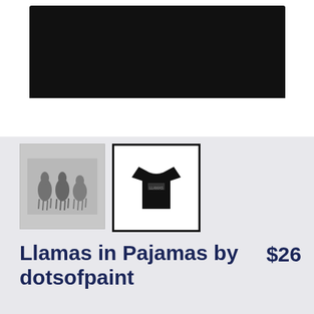[Figure (photo): Product image showing a black t-shirt on white background, partially cropped at top]
[Figure (photo): Thumbnail 1: sketch illustration of llamas on grey background]
[Figure (photo): Thumbnail 2 (selected): black t-shirt product view, selected state with dark border]
Llamas in Pajamas by dotsofpaint
$26
Kids
T-Shirt
COLOR